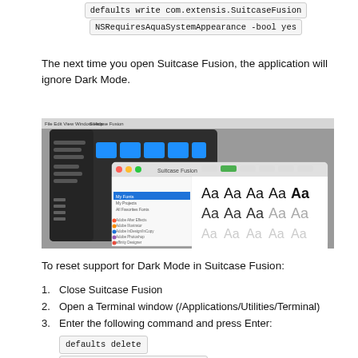defaults write com.extensis.SuitcaseFusion NSRequiresAquaSystemAppearance -bool yes
The next time you open Suitcase Fusion, the application will ignore Dark Mode.
[Figure (screenshot): Screenshot of Suitcase Fusion application window showing font browser in light mode overlaid on a dark macOS desktop with Finder windows]
To reset support for Dark Mode in Suitcase Fusion:
1. Close Suitcase Fusion
2. Open a Terminal window (/Applications/Utilities/Terminal)
3. Enter the following command and press Enter:
defaults delete
com.extensis.SuitcaseFusion
NSRequiresAquaSystemAppearance